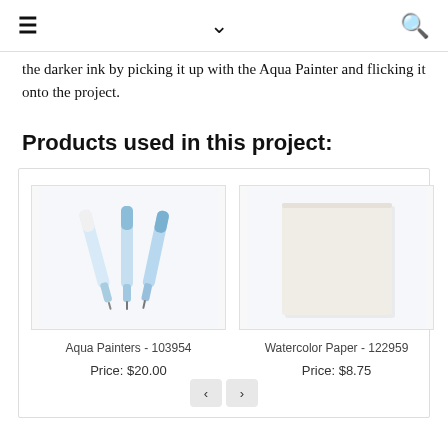≡  ∨  🔍
the darker ink by picking it up with the Aqua Painter and flicking it onto the project.
Products used in this project:
[Figure (photo): Aqua Painters product image - three light blue watercolor brush pens]
Aqua Painters - 103954
Price: $20.00
[Figure (photo): Watercolor Paper product image - a cream/off-white rectangular sheet of paper]
Watercolor Paper - 122959
Price: $8.75